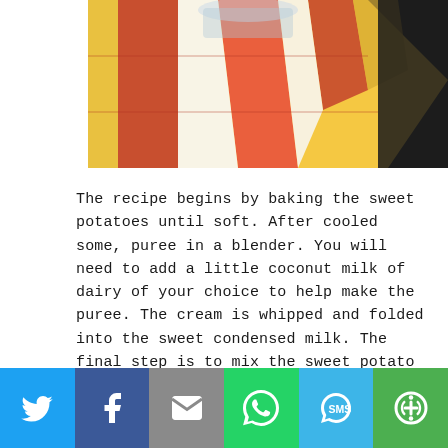[Figure (photo): Partial photo of a colorful checkered/plaid cloth (red, yellow, white stripes) draped near a dark textured surface, likely a kitchen scene with sweet potato ice cream dessert.]
The recipe begins by baking the sweet potatoes until soft. After cooled some, puree in a blender. You will need to add a little coconut milk of dairy of your choice to help make the puree. The cream is whipped and folded into the sweet condensed milk. The final step is to mix the sweet potato puree into the mixture. Pour the mixture into the loaf pan and place in the freezer. When ready to serve, take out a let it soften some so it is creamy.
[Figure (infographic): Social sharing bar with six buttons: Twitter (blue), Facebook (dark blue), Email (gray), WhatsApp (green), SMS (light blue), More/share (green)]